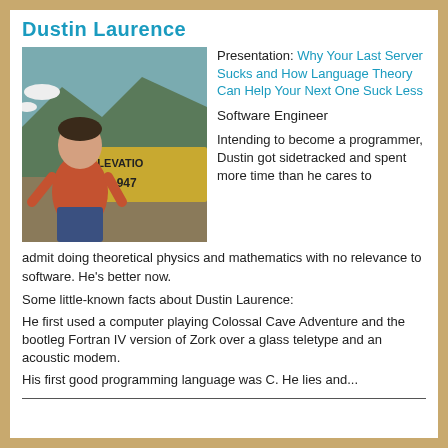Dustin Laurence
[Figure (photo): Photo of Dustin Laurence standing outdoors in a red t-shirt and jeans, in front of a sign reading ELEVATION 10,947]
Presentation: Why Your Last Server Sucks and How Language Theory Can Help Your Next One Suck Less
Software Engineer
Intending to become a programmer, Dustin got sidetracked and spent more time than he cares to admit doing theoretical physics and mathematics with no relevance to software. He's better now.
Some little-known facts about Dustin Laurence:
He first used a computer playing Colossal Cave Adventure and the bootleg Fortran IV version of Zork over a glass teletype and an acoustic modem.
His first good programming language was C. He lies and...